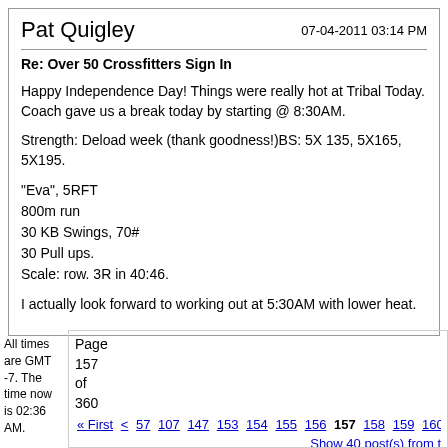Pat Quigley
07-04-2011 03:14 PM
Re: Over 50 Crossfitters Sign In
Happy Independence Day! Things were really hot at Tribal Today. Coach gave us a break today by starting @ 8:30AM.
Strength: Deload week (thank goodness!)BS: 5X 135, 5X165, 5X195.
"Eva", 5RFT
800m run
30 KB Swings, 70#
30 Pull ups.
Scale: row. 3R in 40:46.
I actually look forward to working out at 5:30AM with lower heat.
All times are GMT -7. The time now is 02:36 AM.
Page 157 of 360
« First  <  57  107  147  153  154  155  156  157  158  159  160  161  167
Show 40 post(s) from t